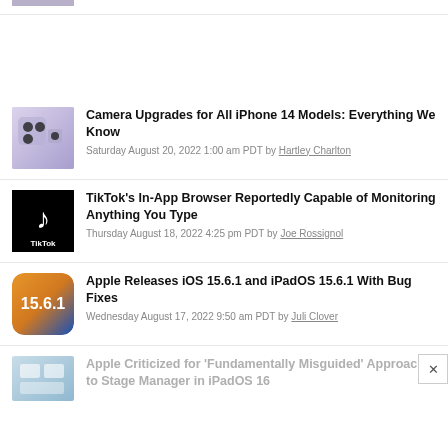[Figure (photo): Partial thumbnail of an article at the top, cropped]
Partial article title text (cropped at top)
[Figure (photo): iPhone camera system thumbnail - purple/lavender colored iPhone]
Camera Upgrades for All iPhone 14 Models: Everything We Know
Saturday August 20, 2022 1:00 am PDT by Hartley Charlton
[Figure (logo): TikTok logo on black background]
TikTok's In-App Browser Reportedly Capable of Monitoring Anything You Type
Thursday August 18, 2022 4:25 pm PDT by Joe Rossignol
[Figure (screenshot): iOS 15.6.1 app icon with orange and blue gradient]
Apple Releases iOS 15.6.1 and iPadOS 15.6.1 With Bug Fixes
Wednesday August 17, 2022 9:50 am PDT by Juli Clover
[Figure (photo): Partial thumbnail for Stage Manager article]
Apple Criticized for 'Fundamentally Misguided' Approach to Stage Manager in iPadOS 16